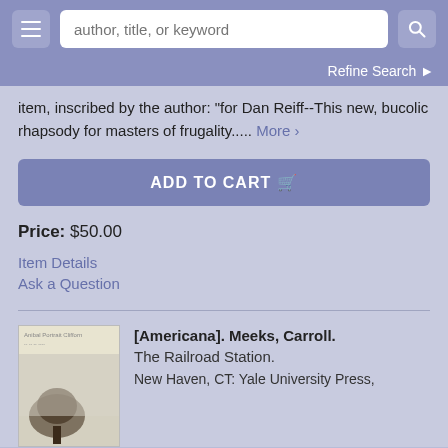[Figure (screenshot): Navigation bar with hamburger menu, search box with placeholder 'author, title, or keyword', and search icon button]
Refine Search ›
item, inscribed by the author: "for Dan Reiff--This new, bucolic rhapsody for masters of frugality..... More ›
ADD TO CART 🛒
Price: $50.00
Item Details
Ask a Question
[Americana]. Meeks, Carroll.
The Railroad Station.
New Haven, CT: Yale University Press,